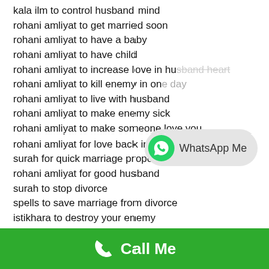kala ilm to control husband mind
rohani amliyat to get married soon
rohani amliyat to have a baby
rohani amliyat to have child
rohani amliyat to increase love in husband heart
rohani amliyat to kill enemy in one day
rohani amliyat to live with husband
rohani amliyat to make enemy sick
rohani amliyat to make someone love you
rohani amliyat for love back in one day
surah for quick marriage proposal
rohani amliyat for good husband
surah to stop divorce
spells to save marriage from divorce
istikhara to destroy your enemy
istikhara for love back in 3 days
istikhara to increase love in husband heart
istikhara for baby boy during pregnancy
[Figure (other): WhatsApp Me button with green WhatsApp icon and grey bubble]
Call Me